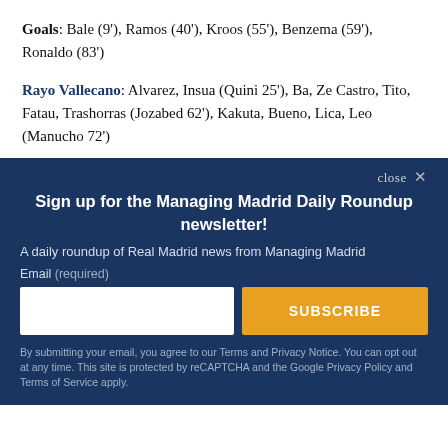Goals: Bale (9'), Ramos (40'), Kroos (55'), Benzema (59'), Ronaldo (83')
Rayo Vallecano: Alvarez, Insua (Quini 25'), Ba, Ze Castro, Tito, Fatau, Trashorras (Jozabed 62'), Kakuta, Bueno, Lica, Leo (Manucho 72')
close ×
Sign up for the Managing Madrid Daily Roundup newsletter!
A daily roundup of Real Madrid news from Managing Madrid
Email (required)
SUBSCRIBE
By submitting your email, you agree to our Terms and Privacy Notice. You can opt out at any time. This site is protected by reCAPTCHA and the Google Privacy Policy and Terms of Service apply.